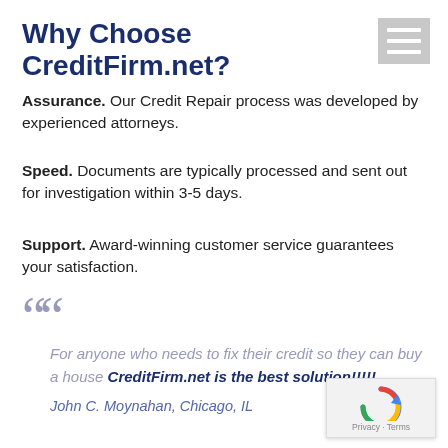Why Choose CreditFirm.net?
Assurance. Our Credit Repair process was developed by experienced attorneys.
Speed. Documents are typically processed and sent out for investigation within 3-5 days.
Support. Award-winning customer service guarantees your satisfaction.
““ For anyone who needs to fix their credit so they can buy a house CreditFirm.net is the best solution!!!!!
John C. Moynahan, Chicago, IL
[Figure (other): reCAPTCHA widget with Privacy and Terms links]